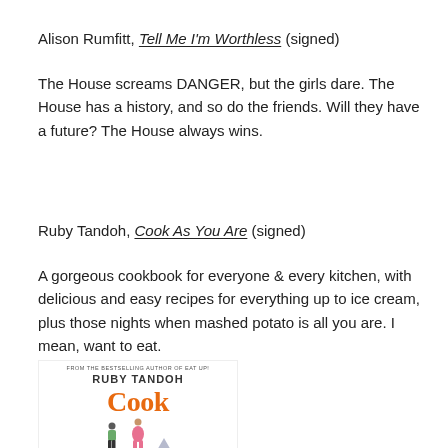Alison Rumfitt, Tell Me I'm Worthless (signed)
The House screams DANGER, but the girls dare. The House has a history, and so do the friends. Will they have a future? The House always wins.
Ruby Tandoh, Cook As You Are (signed)
A gorgeous cookbook for everyone & every kitchen, with delicious and easy recipes for everything up to ice cream, plus those nights when mashed potato is all you are. I mean, want to eat.
[Figure (illustration): Book cover for 'Cook As You Are' by Ruby Tandoh showing the title in orange with illustrated figures of people and the author's name in bold uppercase.]